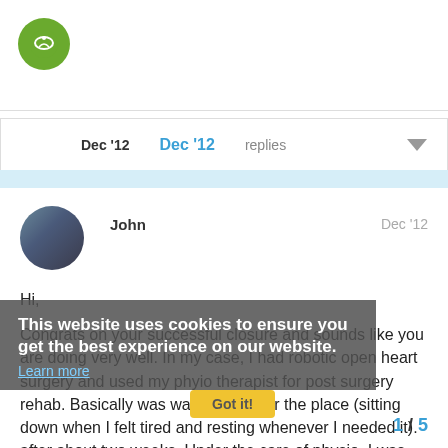[Figure (logo): Green circle logo with white icon]
| Dec '12 | Dec '12 | replies |
| --- | --- | --- |
John
Dec '12
Hi,
Congrats on your successful closure and sounds like you are doing very well. In my case, I had robotic open heart surgery and used my phyio therapist for post surgery rehab. Basically was walking all over the place (sitting down when I felt tired and resting whenever I needed it). after about two weeks. Under the care of physio, I was back in the gym after less than a month. I used a heart monitor religiously for the six plus months post closure when I was in the gym. I listened to my physio and my body.
This website uses cookies to ensure you get the best experience on our website. Learn more
Got it!
The final test was at 2 months when he r
1/5